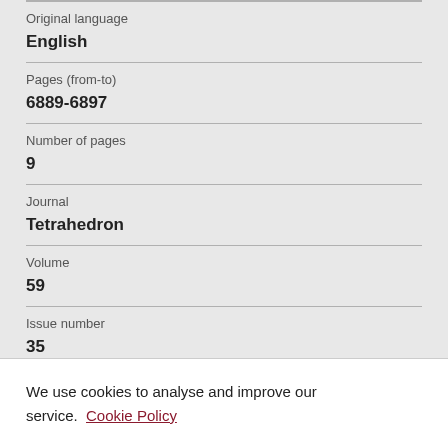| Field | Value |
| --- | --- |
| Original language | English |
| Pages (from-to) | 6889-6897 |
| Number of pages | 9 |
| Journal | Tetrahedron |
| Volume | 59 |
| Issue number | 35 |
We use cookies to analyse and improve our service. Cookie Policy